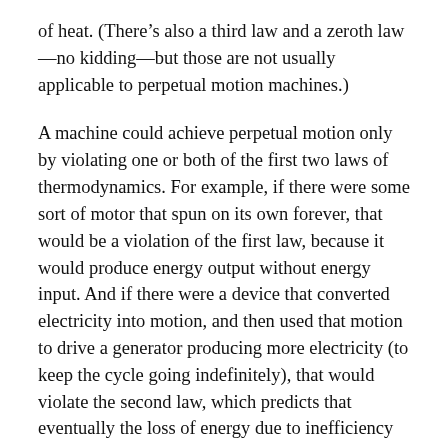of heat. (There's also a third law and a zeroth law—no kidding—but those are not usually applicable to perpetual motion machines.)
A machine could achieve perpetual motion only by violating one or both of the first two laws of thermodynamics. For example, if there were some sort of motor that spun on its own forever, that would be a violation of the first law, because it would produce energy output without energy input. And if there were a device that converted electricity into motion, and then used that motion to drive a generator producing more electricity (to keep the cycle going indefinitely), that would violate the second law, which predicts that eventually the loss of energy due to inefficiency would cause the machine to stop.